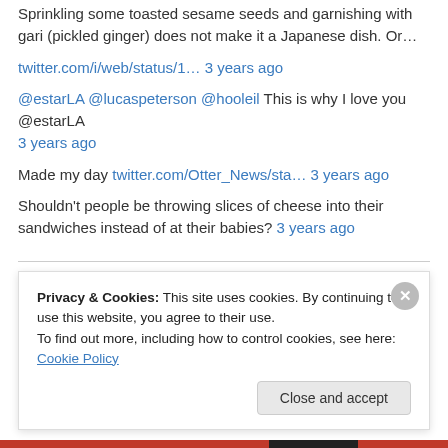Sprinkling some toasted sesame seeds and garnishing with gari (pickled ginger) does not make it a Japanese dish. Or…
twitter.com/i/web/status/1… 3 years ago
@estarLA @lucaspeterson @hooleil This is why I love you @estarLA 3 years ago
Made my day twitter.com/Otter_News/sta… 3 years ago
Shouldn't people be throwing slices of cheese into their sandwiches instead of at their babies? 3 years ago
AUGUST 2022
Privacy & Cookies: This site uses cookies. By continuing to use this website, you agree to their use.
To find out more, including how to control cookies, see here: Cookie Policy
Close and accept